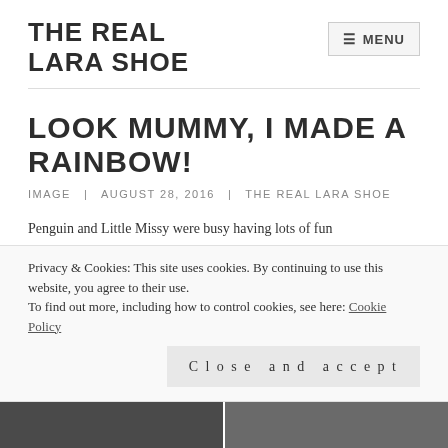THE REAL LARA SHOE
LOOK MUMMY, I MADE A RAINBOW!
IMAGE  |  AUGUST 28, 2016  |  THE REAL LARA SHOE
Penguin and Little Missy were busy having lots of fun
Privacy & Cookies: This site uses cookies. By continuing to use this website, you agree to their use.
To find out more, including how to control cookies, see here: Cookie Policy
Close and accept
[Figure (photo): Two black and white photographs at the bottom of the page, partially visible]